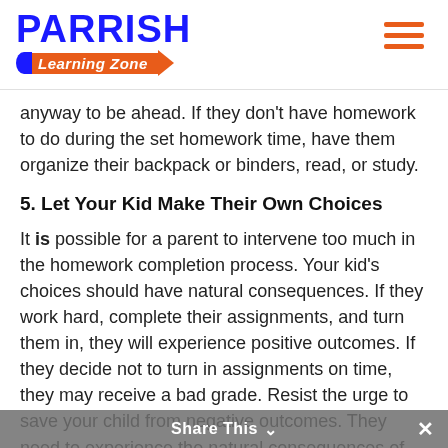[Figure (logo): Parrish Learning Zone logo with blue bold PARRISH text and orange pencil banner]
anyway to be ahead. If they don't have homework to do during the set homework time, have them organize their backpack or binders, read, or study.
5. Let Your Kid Make Their Own Choices
It is possible for a parent to intervene too much in the homework completion process. Your kid's choices should have natural consequences. If they work hard, complete their assignments, and turn them in, they will experience positive outcomes. If they decide not to turn in assignments on time, they may receive a bad grade. Resist the urge to save your child from negative outcomes. They need to experience the natural consequences of their actions in order to be
Share This